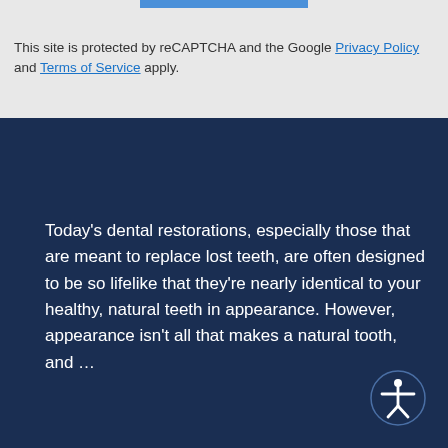This site is protected by reCAPTCHA and the Google Privacy Policy and Terms of Service apply.
Today's dental restorations, especially those that are meant to replace lost teeth, are often designed to be so lifelike that they're nearly identical to your healthy, natural teeth in appearance. However, appearance isn't all that makes a natural tooth, and …
[Figure (illustration): Accessibility icon button - circle with human figure silhouette with arms outstretched]